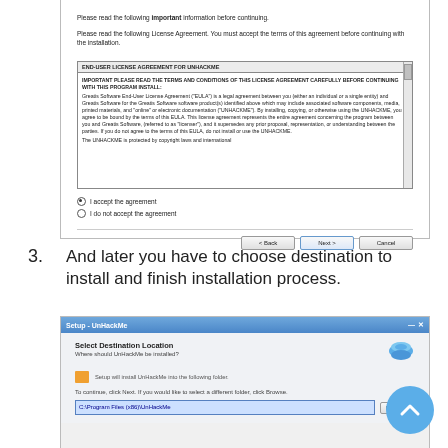[Figure (screenshot): Windows installer License Agreement dialog for UnHackMe showing EULA text box with scrollbar, radio buttons for accepting or declining the agreement, and Back/Next/Cancel buttons at bottom.]
And later you have to choose destination to install and finish installation process.
[Figure (screenshot): Windows Setup dialog for UnHackMe showing Select Destination Location screen with folder path input field showing C:\Program Files (x86)\UnHackMe and Browse button.]